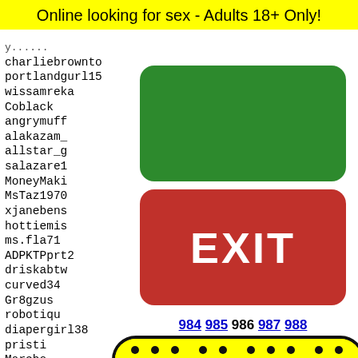Online looking for sex - Adults 18+ Only!
charliebrownto
portlandgurl15
wissamreka
Coblack
angrymuff
alakazam_
allstar_g
salazare1
MoneyMaki
MsTaz1970
xjanebens
hottiemis
ms.fla71
ADPKTPprt2
driskabtw
curved34
Gr8gzus
robotiqu
diapergirl38
pristi
Marcho
janhvi
eworm
marcop
brian6
[Figure (other): Green button (no label)]
[Figure (other): Red EXIT button]
984 985 986 987 988
[Figure (other): Yellow rounded rectangle with dot grid pattern at bottom of page]